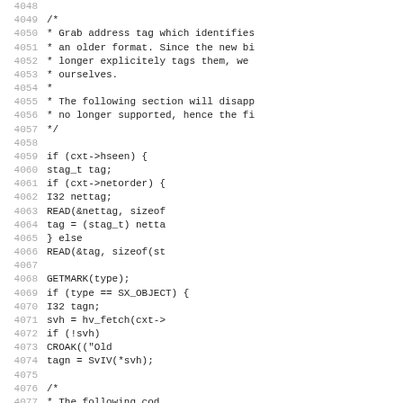[Figure (other): Source code listing in C, lines 4048–4079+, showing a code block with a comment about grabbing address tags and conditional reading logic using stag_t, netorder, READ, GETMARK, hv_fetch, SvIV, and CROAK macros.]